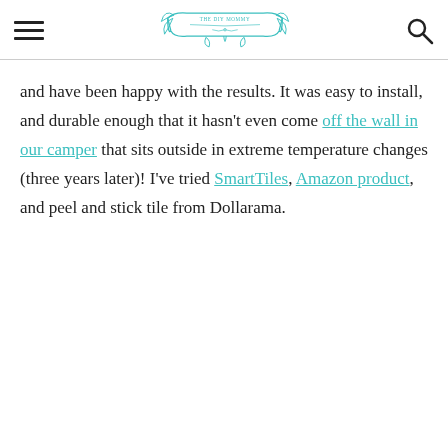THE DIY MOMMY
and have been happy with the results. It was easy to install, and durable enough that it hasn't even come off the wall in our camper that sits outside in extreme temperature changes (three years later)! I've tried SmartTiles, Amazon product, and peel and stick tile from Dollarama.